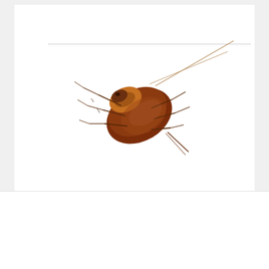[Figure (photo): A cockroach (American cockroach) photographed on a white background, shown at an angle with long antennae extending to the upper right.]
Om uw ervaring te verbeteren maakt deze website gebruik van cookies. Door op "accepteren" te klikken gaat u akkoord met het verwerken van cookies.
Cookie Instellingen
Accepteren
Alles afwijzen